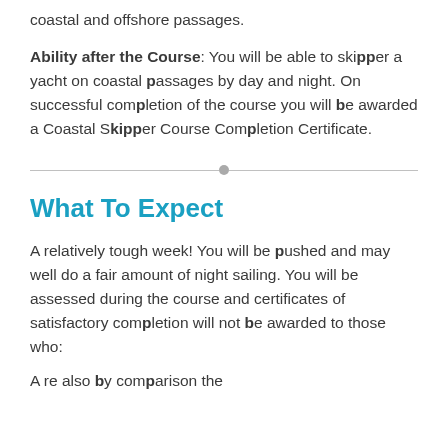coastal and offshore passages.
Ability after the Course: You will be able to skipper a yacht on coastal passages by day and night. On successful completion of the course you will be awarded a Coastal Skipper Course Completion Certificate.
What To Expect
A relatively tough week! You will be pushed and may well do a fair amount of night sailing. You will be assessed during the course and certificates of satisfactory completion will not be awarded to those who:
A re also referenced by comparison the